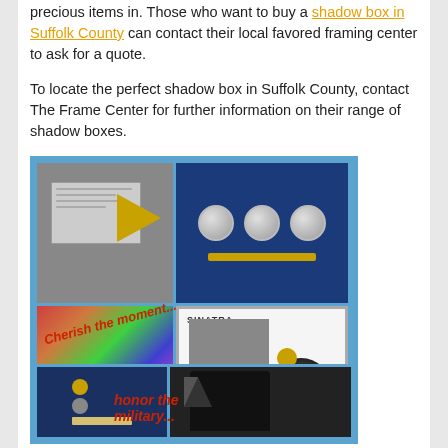precious items in. Those who want to buy a shadow box in Suffolk County can contact their local favored framing center to ask for a quote.
To locate the perfect shadow box in Suffolk County, contact The Frame Center for further information on their range of shadow boxes.
[Figure (photo): Collage of shadow box examples including framed certificate with pennant, medals on blue background, colorful artwork, Sinatra record album, military medals and documents, military jacket with honor the military text, and blue display boxes.]